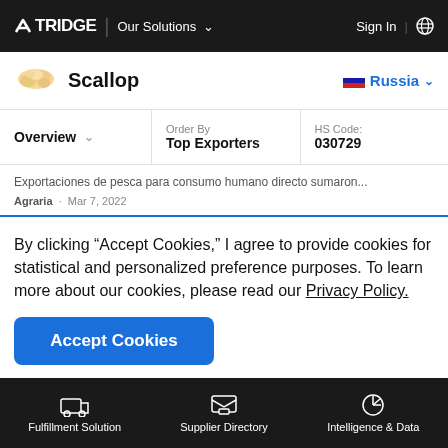TRIDGE | Our Solutions   Sign In
Scallop   Russia
| Overview | Order By | HS Code: |
| --- | --- | --- |
|  | Top Exporters | 030729 |
Exportaciones de pesca para consumo humano directo sumaron...
Agraria · Mar 7, 2022
By clicking “Accept Cookies,” I agree to provide cookies for statistical and personalized preference purposes. To learn more about our cookies, please read our Privacy Policy.
Accept Cookies
Fulfillment Solution   Supplier Directory   Intelligence & Data